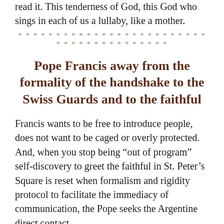read it. This tenderness of God, this God who sings in each of us a lullaby, like a mother.
* * * * * * * * * * * * * * * * * * * * * * * * * * * * * * * * * * * * * * * * *
Pope Francis away from the formality of the handshake to the Swiss Guards and to the faithful
Francis wants to be free to introduce people, does not want to be caged or overly protected.  And, when you stop being “out of program” self-discovery to greet the faithful in St. Peter’s Square is reset when formalism and rigidity protocol to facilitate the immediacy of communication, the Pope seeks the Argentine direct contact.
Friday, for example, Francis broke protocol again shaking hands with the Swiss Guard. Every morning, at the end of the Synod, the Pope walks